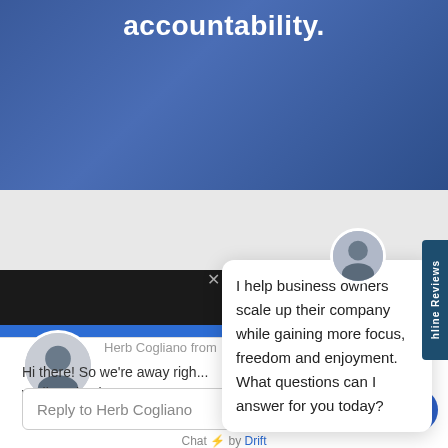accountability.
[Figure (screenshot): Chat widget from Drift showing Herb Cogliano with message 'Hi there! So we're away right now, we'll get back to you soon.' and a popup bubble saying 'I help business owners scale up their company while gaining more focus, freedom and enjoyment. What questions can I answer for you today?' with a Reply to Herb Cogliano input box and Chat by Drift footer]
Herb Cogliano from
Hi there! So we're away right now, we'll get back to you soon.
I help business owners scale up their company while gaining more focus, freedom and enjoyment. What questions can I answer for you today?
Reply to Herb Cogliano
Chat ⚡ by Drift